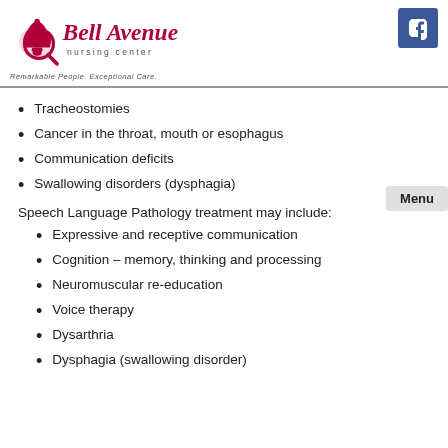Bell Avenue nursing center — Remarkable People. Exceptional Care.
Tracheostomies
Cancer in the throat, mouth or esophagus
Communication deficits
Swallowing disorders (dysphagia)
Speech Language Pathology treatment may include:
Expressive and receptive communication
Cognition – memory, thinking and processing
Neuromuscular re-education
Voice therapy
Dysarthria
Dysphagia (swallowing disorder)